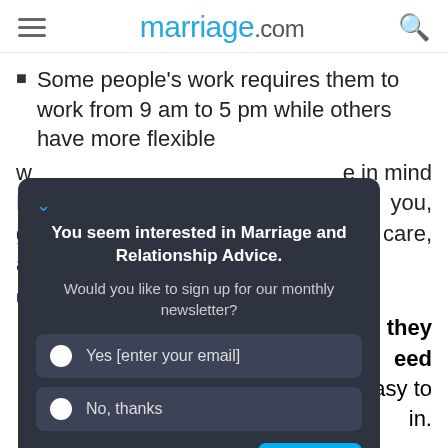marriage.com
Some people's work requires them to work from 9 am to 5 pm while others have more flexible
W... your ... they ... eed ... n easy to f... in.
[Figure (screenshot): A newsletter signup popup from ProProfs Qualaroo on marriage.com. Dark background with title 'You seem interested in Marriage and Relationship Advice.' and subtitle 'Would you like to sign up for our monthly newsletter?' with Yes/No radio options and a SEND button.]